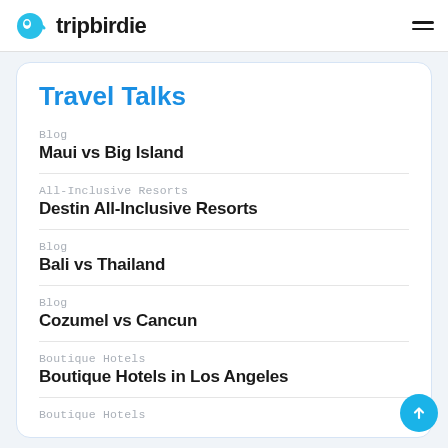tripbirdie
Travel Talks
Blog
Maui vs Big Island
All-Inclusive Resorts
Destin All-Inclusive Resorts
Blog
Bali vs Thailand
Blog
Cozumel vs Cancun
Boutique Hotels
Boutique Hotels in Los Angeles
Boutique Hotels